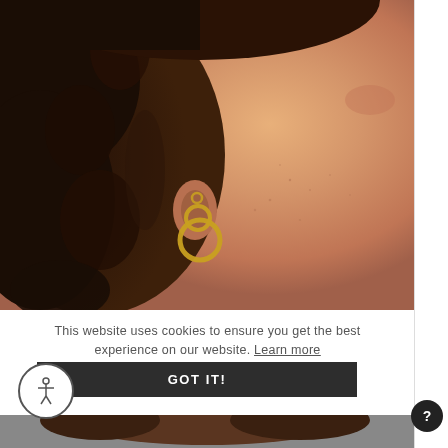[Figure (photo): Close-up photo of a woman's ear with gold hoop earrings (two stacked hoops), dark curly hair on left, warm skin tone, freckles visible on cheek]
This website uses cookies to ensure you get the best experience on our website. Learn more
GOT IT!
[Figure (photo): Partial bottom strip of another photo showing top of a person's head with dark hair]